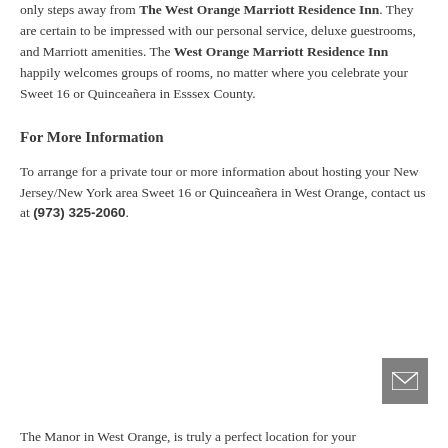only steps away from The West Orange Marriott Residence Inn. They are certain to be impressed with our personal service, deluxe guestrooms, and Marriott amenities. The West Orange Marriott Residence Inn happily welcomes groups of rooms, no matter where you celebrate your Sweet 16 or Quinceañera in Esssex County.
For More Information
To arrange for a private tour or more information about hosting your New Jersey/New York area Sweet 16 or Quinceañera in West Orange, contact us at (973) 325-2060.
The Manor in West Orange, is truly a perfect location for your